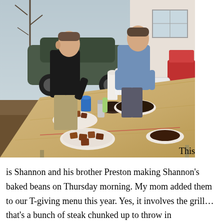[Figure (photo): Two men standing around a large plywood table outdoors, with plates of food (baked beans, steak) on the table, a paper towel roll, drinks, and a grill in the background. A car is parked in the driveway behind them. Bare trees visible.]
This is Shannon and his brother Preston making Shannon's baked beans on Thursday morning. My mom added them to our T-giving menu this year. Yes, it involves the grill… that's a bunch of steak chunked up to throw in